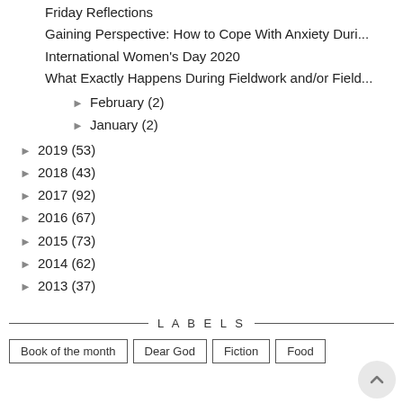Friday Reflections
Gaining Perspective: How to Cope With Anxiety Duri...
International Women's Day 2020
What Exactly Happens During Fieldwork and/or Field...
► February (2)
► January (2)
► 2019 (53)
► 2018 (43)
► 2017 (92)
► 2016 (67)
► 2015 (73)
► 2014 (62)
► 2013 (37)
LABELS
Book of the month
Dear God
Fiction
Food